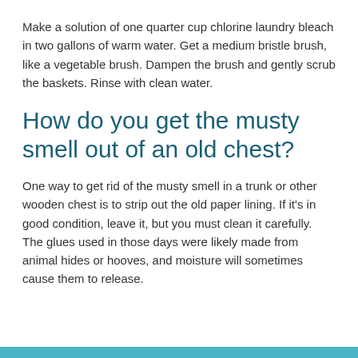Make a solution of one quarter cup chlorine laundry bleach in two gallons of warm water. Get a medium bristle brush, like a vegetable brush. Dampen the brush and gently scrub the baskets. Rinse with clean water.
How do you get the musty smell out of an old chest?
One way to get rid of the musty smell in a trunk or other wooden chest is to strip out the old paper lining. If it's in good condition, leave it, but you must clean it carefully. The glues used in those days were likely made from animal hides or hooves, and moisture will sometimes cause them to release.